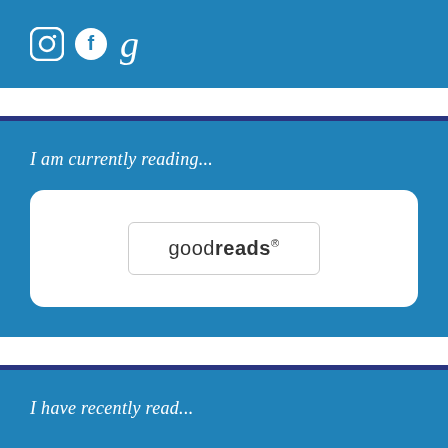[Figure (infographic): Social media icons: Instagram (circle with camera outline), Facebook (circle with f), and Goodreads (lowercase italic g) in white on blue background]
I am currently reading...
[Figure (logo): Goodreads logo showing 'goodreads' text with 'reads' in bold, inside a rounded rectangle border, displayed within a white card on blue background]
I have recently read...